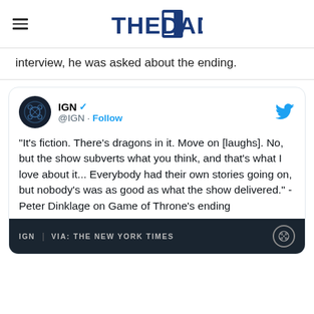THE DAD
interview, he was asked about the ending.
[Figure (screenshot): Embedded tweet from IGN (@IGN) with Twitter bird logo. Quote: "It's fiction. There's dragons in it. Move on [laughs]. No, but the show subverts what you think, and that's what I love about it... Everybody had their own stories going on, but nobody's was as good as what the show delivered." - Peter Dinklage on Game of Throne's ending. Below is a dark image bar with IGN | VIA: THE NEW YORK TIMES and IGN logo.]